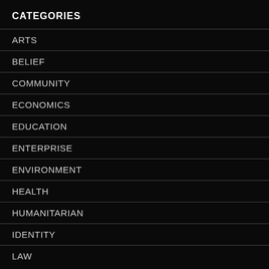CATEGORIES
ARTS
BELIEF
COMMUNITY
ECONOMICS
EDUCATION
ENTERPRISE
ENVIRONMENT
HEALTH
HUMANITARIAN
IDENTITY
LAW